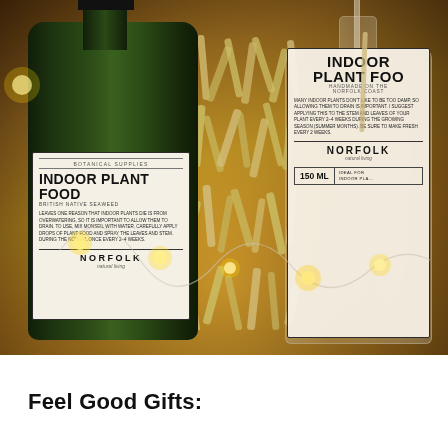[Figure (photo): Photo of two bottles of indoor plant food in a wooden gift box with fairy lights and shredded paper packing. Left bottle is dark green with a black spray pump top and a white label reading 'INDOOR PLANT FOOD / BRITISH NATIVE SEAWEED' from Norfolk Natural Living. Right bottle is clear glass with a dropper and a white label also reading 'INDOOR PLANT FOOD / HANDMADE ON THE NORFOLK COAST' with usage instructions, 150ml, Norfolk Natural Living.]
Feel Good Gifts: